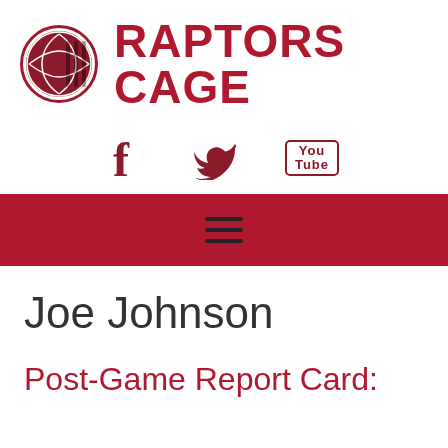[Figure (logo): Raptors Cage basketball site logo with circular basketball graphic and red text 'RAPTORS CAGE']
[Figure (infographic): Social media icons: Facebook (f), Twitter (bird), YouTube (You/Tube box)]
[Figure (infographic): Red navigation bar with hamburger menu icon (three horizontal lines)]
Joe Johnson
Post-Game Report Card: